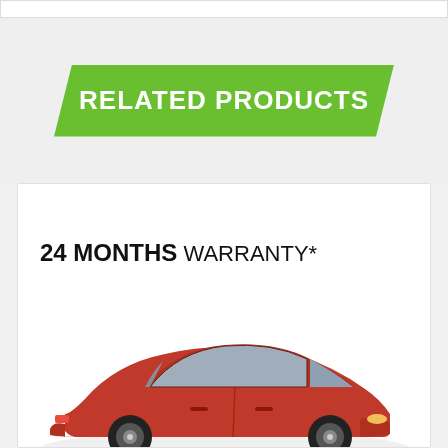RELATED PRODUCTS
[Figure (illustration): Product card showing a red car with '24 MONTHS WARRANTY*' text above it on a white card background]